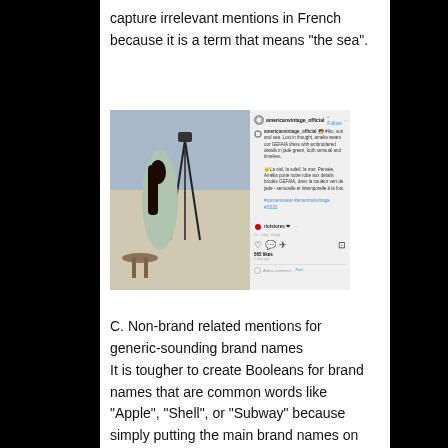capture irrelevant mentions in French because it is a term that means “the sea”.
[Figure (screenshot): Instagram post screenshot showing a woman in a green dress near a camera tripod outdoors, with Instagram post text in English and French by americanvintage_official.]
C. Non-brand related mentions for generic-sounding brand names
It is tougher to create Booleans for brand names that are common words like “Apple”, “Shell”, or “Subway” because simply putting the main brand names on your query will return